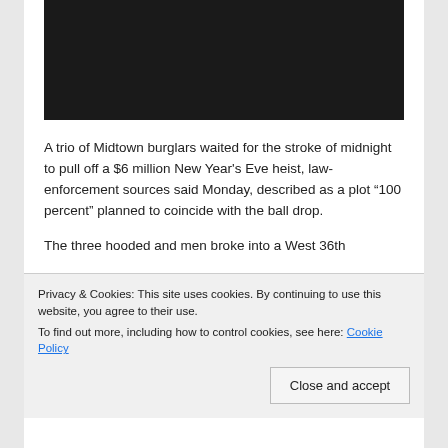[Figure (photo): Dark/black image at the top of the article, likely a thumbnail or video still]
A trio of Midtown burglars waited for the stroke of midnight to pull off a $6 million New Year's Eve heist, law-enforcement sources said Monday, described as a plot “100 percent” planned to coincide with the ball drop.
The three hooded and men broke into a West 36th
Privacy & Cookies: This site uses cookies. By continuing to use this website, you agree to their use.
To find out more, including how to control cookies, see here: Cookie Policy
Close and accept